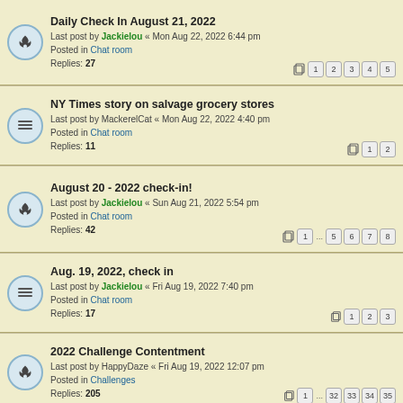Daily Check In August 21, 2022 - Last post by Jackielou « Mon Aug 22, 2022 6:44 pm - Posted in Chat room - Replies: 27 - Pages: 1 2 3 4 5
NY Times story on salvage grocery stores - Last post by MackerelCat « Mon Aug 22, 2022 4:40 pm - Posted in Chat room - Replies: 11 - Pages: 1 2
August 20 - 2022 check-in! - Last post by Jackielou « Sun Aug 21, 2022 5:54 pm - Posted in Chat room - Replies: 42 - Pages: 1 ... 5 6 7 8
Aug. 19, 2022, check in - Last post by Jackielou « Fri Aug 19, 2022 7:40 pm - Posted in Chat room - Replies: 17 - Pages: 1 2 3
2022 Challenge Contentment - Last post by HappyDaze « Fri Aug 19, 2022 12:07 pm - Posted in Challenges - Replies: 205 - Pages: 1 ... 32 33 34 35
Search found 21 matches • Page 1 of 1